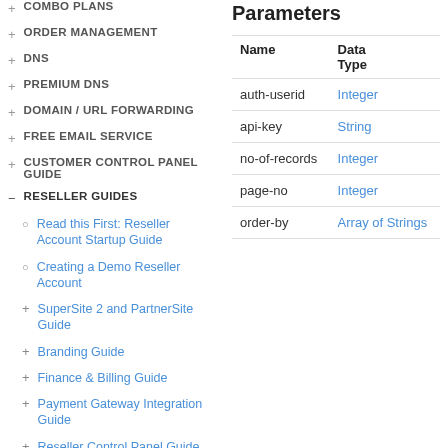+ COMBO PLANS
+ ORDER MANAGEMENT
+ DNS
+ PREMIUM DNS
+ DOMAIN / URL FORWARDING
+ FREE EMAIL SERVICE
+ CUSTOMER CONTROL PANEL GUIDE
- RESELLER GUIDES
o Read this First: Reseller Account Startup Guide
o Creating a Demo Reseller Account
+ SuperSite 2 and PartnerSite Guide
+ Branding Guide
+ Finance & Billing Guide
+ Payment Gateway Integration Guide
+ Reseller Control Panel Guide
Parameters
| Name | Data Type |
| --- | --- |
| auth-userid | Integer |
| api-key | String |
| no-of-records | Integer |
| page-no | Integer |
| order-by | Array of Strings |